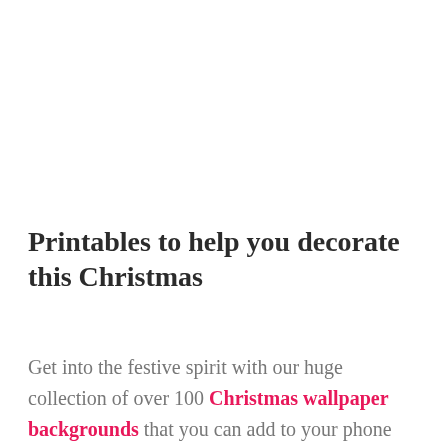Printables to help you decorate this Christmas
Get into the festive spirit with our huge collection of over 100 Christmas wallpaper backgrounds that you can add to your phone this holiday season. Plus you can also use our free printable Christmas wall art prints to help create a perfect festive